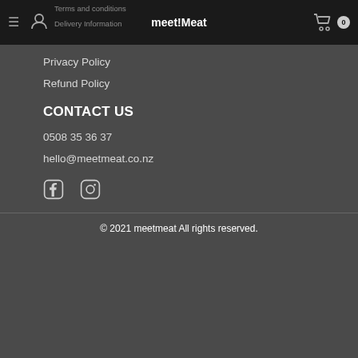Terms and conditions | Delivery Information | meet!Meat | [hamburger] [user] [cart] 0
Privacy Policy
Refund Policy
CONTACT US
0508 35 36 37
hello@meetmeat.co.nz
[Figure (illustration): Facebook and Instagram social media icons]
© 2021 meetmeat All rights reserved.